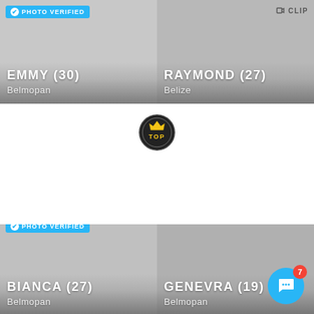[Figure (screenshot): Dating app profile grid showing four user profiles: Emmy (30) from Belmopan with photo verified badge, Raymond (27) from Belize, Bianca (27) from Belmopan with photo verified badge, and Genevra (19) from Belmopan. A TOP badge is visible in the center. A chat button with notification badge showing 7 is in the bottom right.]
EMMY (30)
Belmopan
RAYMOND (27)
Belize
BIANCA (27)
Belmopan
GENEVRA (19)
Belmopan